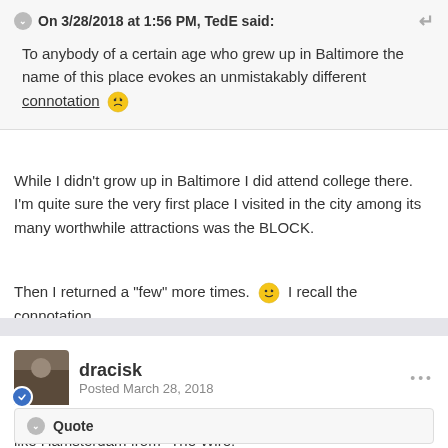On 3/28/2018 at 1:56 PM, TedE said:
To anybody of a certain age who grew up in Baltimore the name of this place evokes an unmistakably different connotation 😟
While I didn't grow up in Baltimore I did attend college there.  I'm quite sure the very first place I visited in the city among its many worthwhile attractions was the BLOCK.
Then I returned a "few" more times. 😉  I recall the connotation.
dracisk
Posted March 28, 2018
I'd never heard of Baltimore's The Block, but it kind of sounds like Hamsterdam from "The Wire."
Quote